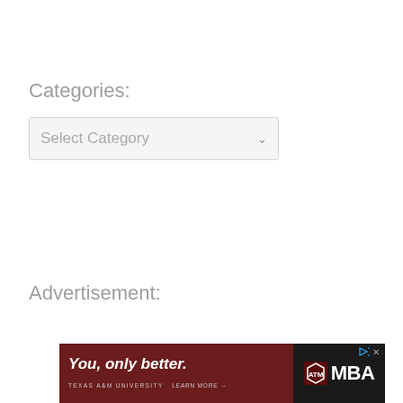Categories:
[Figure (screenshot): A dropdown UI element labeled 'Select Category' with a down-arrow chevron on the right, light gray background]
Advertisement:
[Figure (photo): Texas A&M University MBA advertisement banner with dark red/maroon background on the left showing 'You, only better.' in white italic text with 'TEXAS A&M UNIVERSITY' and 'LEARN MORE →' subtext, and a dark right panel showing the Texas A&M shield logo and 'MBA' in large white text, with a small play/close icon in the top right corner]